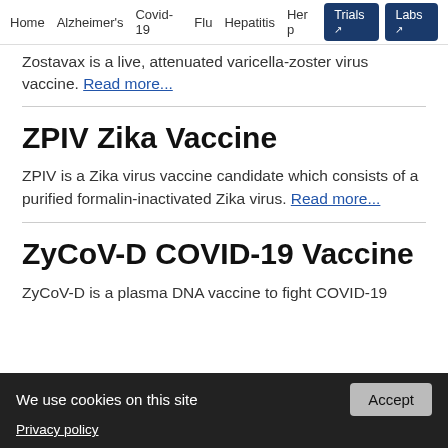Home  Alzheimer's  Covid-19  Flu  Hepatitis  Her...  Trials  Labs
Zostavax is a live, attenuated varicella-zoster virus vaccine. Read more...
ZPIV Zika Vaccine
ZPIV is a Zika virus vaccine candidate which consists of a purified formalin-inactivated Zika virus. Read more...
ZyCoV-D COVID-19 Vaccine
ZyCoV-D is a plasma DNA vaccine to fight COVID-19
We use cookies on this site
Privacy policy
Accept